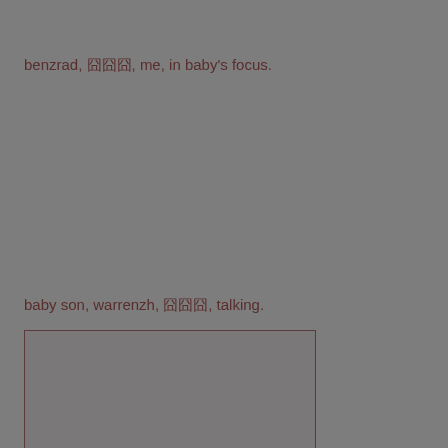benzrad, 囧囧囧, me, in baby's focus.
baby son, warrenzh, 囧囧囧, talking.
[Figure (photo): A rectangular image placeholder with a grey background and dark border, partially visible at the bottom of the page.]